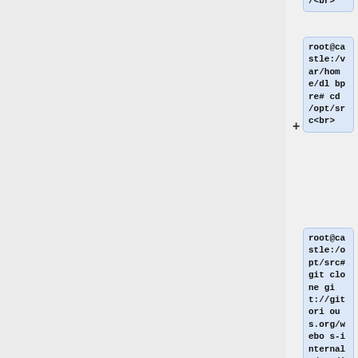[Figure (screenshot): Terminal/command-line code blocks showing git commands. Partial top block showing '/br>', then root@castle:/var/home/dlbpre# cd /opt/src<br>, then root@castle:/opt/src# git clone git://gitorious.org/webos-internals/modifications.git<br>, then s.git<br>, then fatal: destination path 'modifications' already (cut off)]
/br>
root@castle:/var/home/dlbpre# cd /opt/src<br>
root@castle:/opt/src# git clone git://gitorious.org/webos-internals/modifications.git<br>
s.git<br>
fatal: destination path 'modifications' already